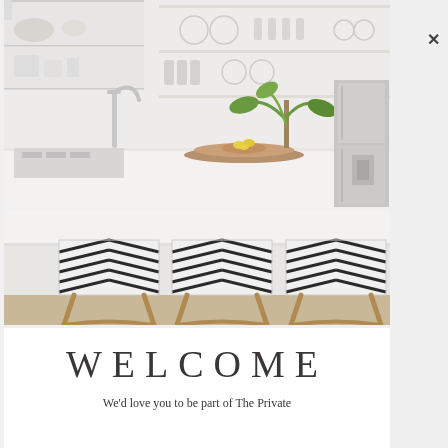[Figure (photo): White modern kitchen interior with stainless steel faucet, open shelving with dishes, a tropical plant, wooden serving boards with a bowl of lemons, and a stainless steel refrigerator on the right.]
[Figure (photo): Three black and white chevron/zigzag patterned bar stools with rattan wooden legs lined up at a white kitchen counter.]
WELCOME
We'd love you to be part of The Private